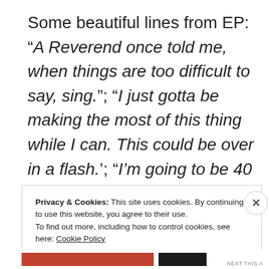Some beautiful lines from EP: “A Reverend once told me, when things are too difficult to say, sing.”; “I just gotta be making the most of this thing while I can. This could be over in a flash.‘; “I’m going to be 40 soon and nobody is going to remember me.”
Privacy & Cookies: This site uses cookies. By continuing to use this website, you agree to their use.
To find out more, including how to control cookies, see here: Cookie Policy